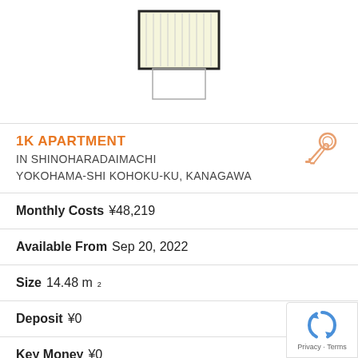[Figure (engineering-diagram): Floor plan drawing of a 1K apartment showing a room with vertical lines (tatami/flooring) and a smaller section below (bathroom/entrance area)]
1K APARTMENT IN SHINOHARADAIMACHI YOKOHAMA-SHI KOHOKU-KU, KANAGAWA
Monthly Costs ¥48,219
Available From Sep 20, 2022
Size 14.48 m²
Deposit ¥0
Key Money ¥0
Floor 3 / 4F
Year Built 1987